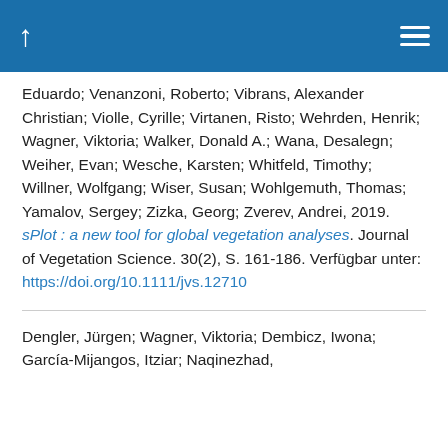↑ ≡
Eduardo; Venanzoni, Roberto; Vibrans, Alexander Christian; Violle, Cyrille; Virtanen, Risto; Wehrden, Henrik; Wagner, Viktoria; Walker, Donald A.; Wana, Desalegn; Weiher, Evan; Wesche, Karsten; Whitfeld, Timothy; Willner, Wolfgang; Wiser, Susan; Wohlgemuth, Thomas; Yamalov, Sergey; Zizka, Georg; Zverev, Andrei, 2019. sPlot : a new tool for global vegetation analyses. Journal of Vegetation Science. 30(2), S. 161-186. Verfügbar unter: https://doi.org/10.1111/jvs.12710
Dengler, Jürgen; Wagner, Viktoria; Dembicz, Iwona; García-Mijangos, Itziar; Naqinezhad,